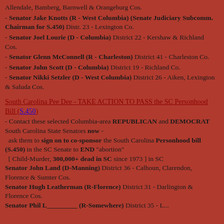Allendale, Bamberg, Barnwell & Orangeburg Cos.
- Senator Jake Knotts (R - West Columbia) (Senate Judiciary Subcomm. Chairman for S.450) Distr. 23 - Lexington Co.
- Senator Joel Lourie (D - Columbia)  District 22 - Kershaw & Richland Cos.
- Senator Glenn McConnell (R - Charleston)  District 41 - Charleston Co.
- Senator John Scott (D - Columbia)  District 19 - Richland Co.
- Senator Nikki Setzler (D - West Columbia)  District 26 - Aiken, Lexington & Saluda Cos.
South Carolina Pee Dee - TAKE ACTION TO PASS the SC Personhood Bill (S.450)
- Contact these selected Columbia-area REPUBLICAN and DEMOCRAT South Carolina State Senators now -
  ask them to sign on to co-sponsor the South Carolina Personhood bill (S.450) in the SC Senate to END "abortion"
  [ Child-Murder, 300,000+ dead in SC since 1973 ] in SC
Senator John Land (D-Manning)  District 36 - Calhoun, Clarendon, Florence & Sumter Cos.
Senator Hugh Leatherman (R-Florence)  District 31 - Darlington & Florence Cos.
Senator Phil __________ (R-Somewhere)  District 35 - Lex...